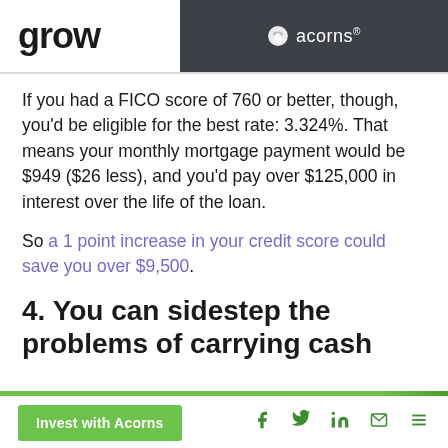grow | acorns®
If you had a FICO score of 760 or better, though, you'd be eligible for the best rate: 3.324%. That means your monthly mortgage payment would be $949 ($26 less), and you'd pay over $125,000 in interest over the life of the loan.
So a 1 point increase in your credit score could save you over $9,500.
4. You can sidestep the problems of carrying cash
Invest with Acorns